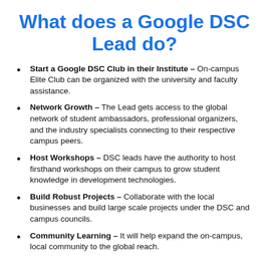What does a Google DSC Lead do?
Start a Google DSC Club in their Institute – On-campus Elite Club can be organized with the university and faculty assistance.
Network Growth – The Lead gets access to the global network of student ambassadors, professional organizers, and the industry specialists connecting to their respective campus peers.
Host Workshops – DSC leads have the authority to host firsthand workshops on their campus to grow student knowledge in development technologies.
Build Robust Projects – Collaborate with the local businesses and build large scale projects under the DSC and campus councils.
Community Learning – It will help expand the on-campus, local community to the global reach.